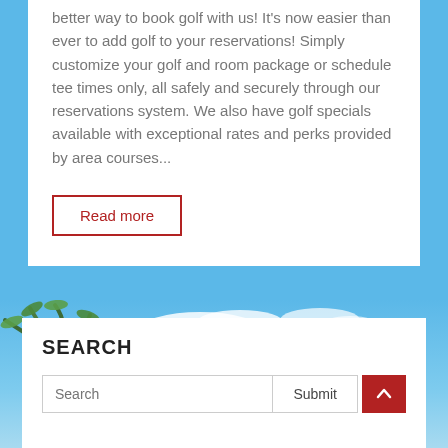better way to book golf with us! It's now easier than ever to add golf to your reservations! Simply customize your golf and room package or schedule tee times only, all safely and securely through our reservations system. We also have golf specials available with exceptional rates and perks provided by area courses...
Read more
[Figure (photo): Tropical sky with palm trees and blue sky with clouds]
SEARCH
Search
Submit